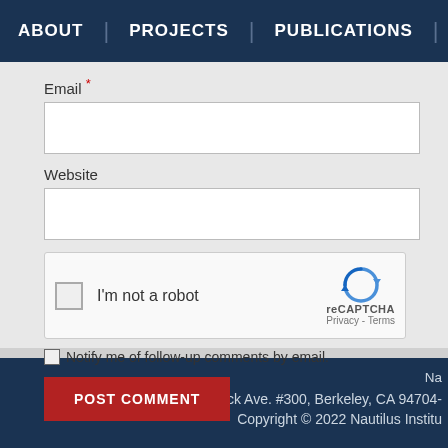ABOUT | PROJECTS | PUBLICATIONS | G
Email *
Website
[Figure (other): reCAPTCHA widget with checkbox labeled 'I'm not a robot', reCAPTCHA logo and branding, Privacy and Terms links]
Notify me of follow-up comments by email.
POST COMMENT
Na
2342 Shattuck Ave. #300, Berkeley, CA 94704-
Copyright © 2022 Nautilus Institu